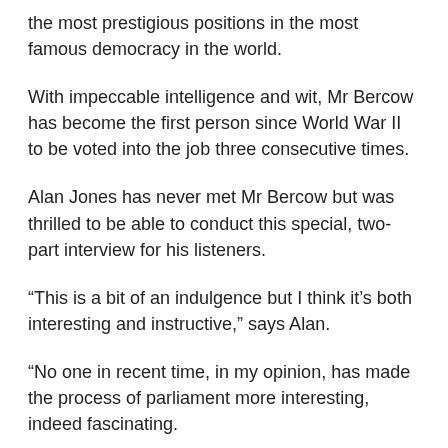the most prestigious positions in the most famous democracy in the world.
With impeccable intelligence and wit, Mr Bercow has become the first person since World War II to be voted into the job three consecutive times.
Alan Jones has never met Mr Bercow but was thrilled to be able to conduct this special, two-part interview for his listeners.
“This is a bit of an indulgence but I think it’s both interesting and instructive,” says Alan.
“No one in recent time, in my opinion, has made the process of parliament more interesting, indeed fascinating.
“I’m sure I can’t do justice to this man in this interview...”
In a wide-ranging interview, Mr Bercow tells Alan all about his